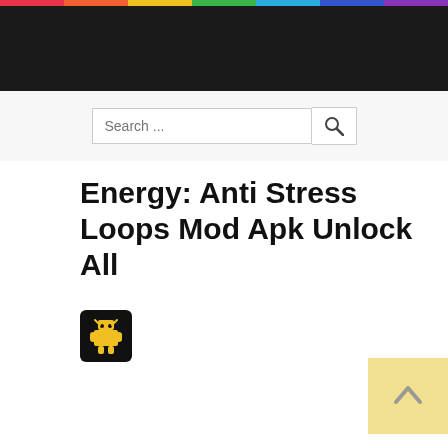[Figure (screenshot): Rainbow colored strip at the top of the page with multiple colored segments]
Search ...
[Figure (other): Yellow menu button with a white horizontal dash/line icon in the top right corner]
Energy: Anti Stress Loops Mod Apk Unlock All
[Figure (logo): Small black square app icon with a yellow pixel-art robot/android figure]
[Figure (other): Light yellow scroll-to-top button with an upward arrow in the bottom right corner]